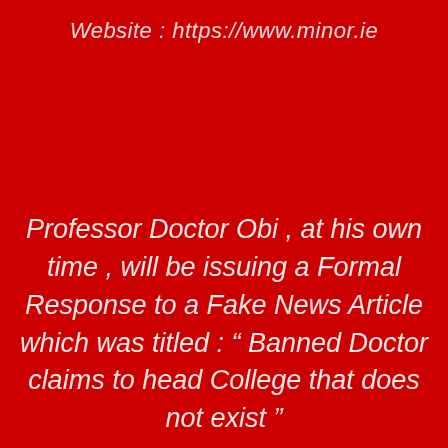Website : https://www.minor.ie
Professor Doctor Obi , at his own time , will be issuing a Formal Response to a Fake News Article which was titled : " Banned Doctor claims to head College that does not exist "